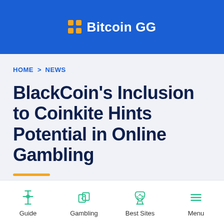Bitcoin GG
HOME > NEWS
BlackCoin’s Inclusion to Coinkite Hints Potential in Online Gambling
[Figure (infographic): Bottom navigation bar with icons for Guide, Gambling, Best Sites, and Menu]
Guide  Gambling  Best Sites  Menu